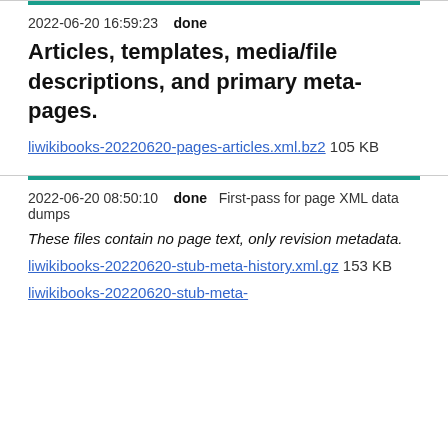2022-06-20 16:59:23   done   Articles, templates, media/file descriptions, and primary meta-pages.
liwikibooks-20220620-pages-articles.xml.bz2 105 KB
2022-06-20 08:50:10   done   First-pass for page XML data dumps
These files contain no page text, only revision metadata.
liwikibooks-20220620-stub-meta-history.xml.gz 153 KB
liwikibooks-20220620-stub-meta-